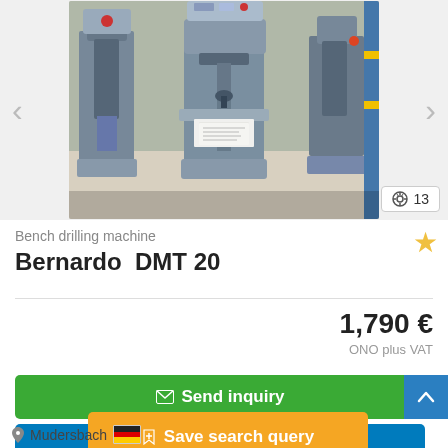[Figure (photo): Photo of Bernardo DMT 20 bench drilling machine shown in a workshop setting with multiple drilling machines visible]
Bench drilling machine
Bernardo  DMT 20
1,790 €
ONO plus VAT
✉ Send inquiry
📞 Call
➤ Save search query
Mudersbach 🇩🇪